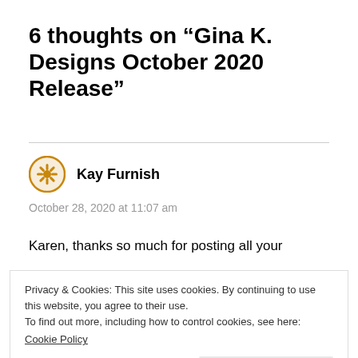6 thoughts on “Gina K. Designs October 2020 Release”
Kay Furnish
October 28, 2020 at 11:07 am
Karen, thanks so much for posting all your
Privacy & Cookies: This site uses cookies. By continuing to use this website, you agree to their use.
To find out more, including how to control cookies, see here: Cookie Policy
Close and accept
out the beauty of each card but I’ll stop before